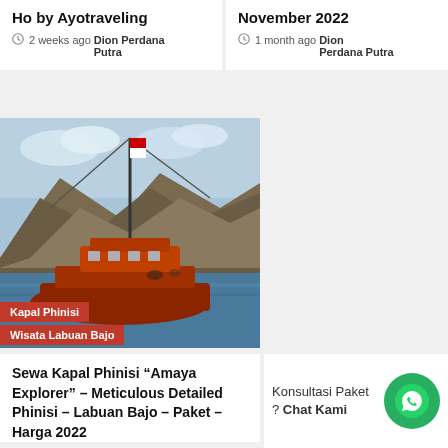Ho by Ayotraveling
2 weeks ago Dion Perdana Putra
November 2022
1 month ago Dion Perdana Putra
[Figure (photo): Kapal Phinisi wooden boat with mast on water, mountains in background, Indonesian flag visible, with red category tags 'Kapal Phinisi' and 'Wisata Labuan Bajo']
Sewa Kapal Phinisi “Amaya Explorer” – Meticulous Detailed Phinisi – Labuan Bajo – Paket – Harga 2022
Konsultasi Paket ? Chat Kami